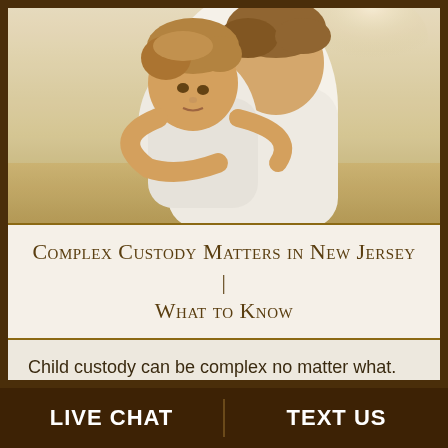[Figure (photo): A young child with light brown hair resting their head on an adult's shoulder in a hug, outdoors with warm sandy/beach background tones]
Complex Custody Matters in New Jersey | What to Know
Child custody can be complex no matter what. However, some matters are especially difficult to tackle. Read on to learn more about the most complex child custody
LIVE CHAT   TEXT US